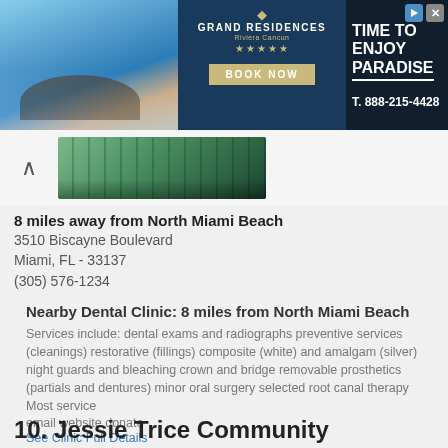[Figure (photo): Grand Residences Riviera Cancun hotel advertisement banner with beach photo, logo, 'TIME TO ENJOY PARADISE' text, 'BOOK NOW' button, and phone number T. 888-215-4428]
[Figure (photo): Photo of a dental clinic building exterior with glass facade surrounded by greenery]
8 miles away from North Miami Beach
3510 Biscayne Boulevard
Miami, FL - 33137
(305) 576-1234
Nearby Dental Clinic: 8 miles from North Miami Beach
Services include: dental exams and radiographs preventive services (cleanings) restorative (fillings) composite (white) and amalgam (silver) night guards and bleaching crown and bridge removable prosthetics (partials and dentures) minor oral surgery selected root canal therapy Most service
email website donate
See Clinic Full Details
10. Jessie Trice Community